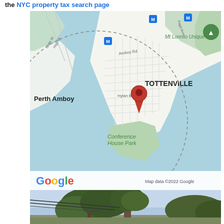the NYC property tax search page
[Figure (map): Google Maps screenshot showing Tottenville neighborhood in Staten Island, NYC. Shows Perth Amboy to the left (water), Conference House Park to the south, Mt Loretto Unique Area to the upper right. A red location pin is placed in the Tottenville grid area near Hylan Blvd. Blue subway/transit icons are visible. Map data ©2022 Google.]
[Figure (photo): Street-level photograph showing trees and utility lines against a sky background, bottom portion of the page.]